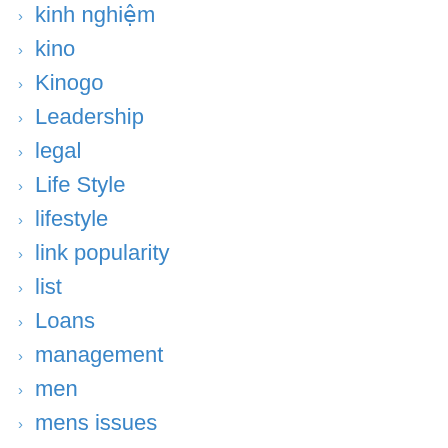kinh nghiệm
kino
Kinogo
Leadership
legal
Life Style
lifestyle
link popularity
list
Loans
management
men
mens issues
mental health
mind development